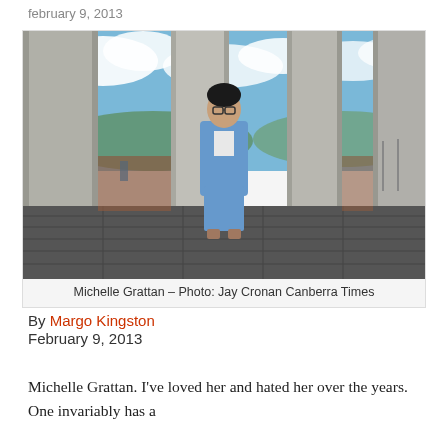february 9, 2013
[Figure (photo): Michelle Grattan standing in a light blue suit between large marble columns at a Canberra public building, with sky and city visible in background.]
Michelle Grattan – Photo: Jay Cronan Canberra Times
By Margo Kingston
February 9, 2013
Michelle Grattan. I've loved her and hated her over the years. One invariably has a